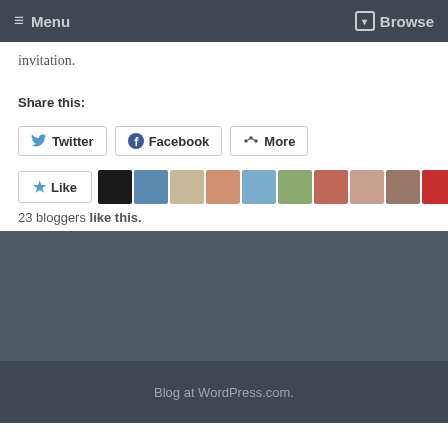≡ Menu  ▾ Browse
invitation.
Share this:
Twitter  Facebook  More
23 bloggers like this.
Blog at WordPress.com.